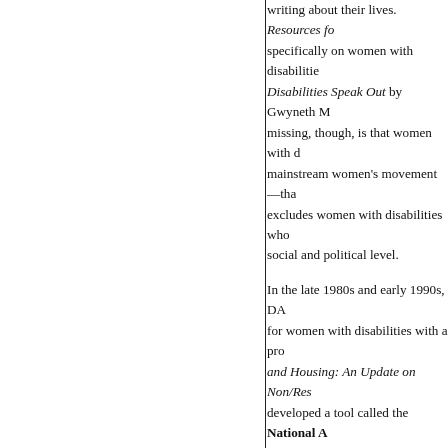writing about their lives. Resources fo specifically on women with disabilitie Disabilities Speak Out by Gwyneth M missing, though, is that women with d mainstream women's movement—tha excludes women with disabilities who social and political level.
In the late 1980s and early 1990s, DA for women with disabilities with a pro and Housing: An Update on Non/Res developed a tool called the National A which has provided important informa accessibility to women's shelters.
Also in those early years, DAWN Can Ottawa to present a Brief on Economi Status of Women.
In 2006, DAWN Canada, along with o would focus on an effective strategic isolation and exclusion of women wit